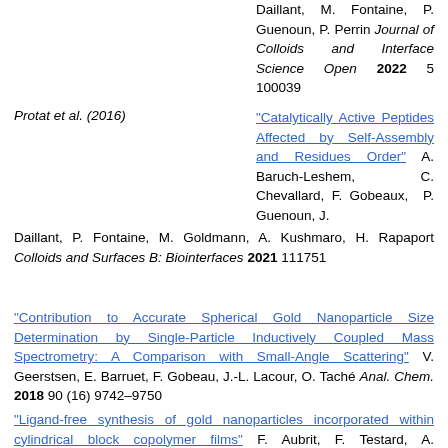Daillant, M. Fontaine, P. Guenoun, P. Perrin Journal of Colloids and Interface Science Open 2022 5 100039
Protat et al. (2016)
"Catalytically Active Peptides Affected by Self-Assembly and Residues Order" A. Baruch-Leshem, C. Chevallard, F. Gobeaux, P. Guenoun, J. Daillant, P. Fontaine, M. Goldmann, A. Kushmaro, H. Rapaport Colloids and Surfaces B: Biointerfaces 2021 111751
"Contribution to Accurate Spherical Gold Nanoparticle Size Determination by Single-Particle Inductively Coupled Mass Spectrometry: A Comparison with Small-Angle Scattering" V. Geerstsen, E. Barruet, F. Gobeaux, J.-L. Lacour, O. Taché Anal. Chem. 2018 90 (16) 9742–9750
"Ligand-free synthesis of gold nanoparticles incorporated within cylindrical block copolymer films" F. Aubrit, F. Testard, A. Paquirissamy, F. Gobeaux, X. Wang, F. Nallet, P. Fontaine, V. Ronsinet, P. Guenoun, J. Mater. Chem. C 2018 6